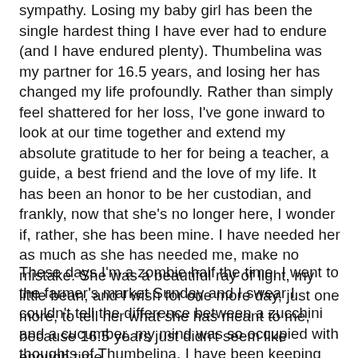sympathy. Losing my baby girl has been the single hardest thing I have ever had to endure (and I have endured plenty). Thumbelina was my partner for 16.5 years, and losing her has changed my life profoundly. Rather than simply feel shattered for her loss, I've gone inward to look at our time together and extend my absolute gratitude to her for being a teacher, a guide, a best friend and the love of my life. It has been an honor to be her custodian, and frankly, now that she's no longer here, I wonder if, rather, she has been mine. I have needed her as much as she has needed me, make no mistake. She was a beautiful ray of light, my little bean, and I wish for one more day, just one more, to tell her what she has meant to me, because 16.5 years just didn't seem like enough time.
These days I'm a zombie half the time. I went to the farmer's market Sunday and I swear I couldn't tell the difference between a zucchini and a cucumber, my mind was so occupied with thoughts of Thumbelina. I have been keeping myself busy with my clothing line, which has helped keep me from descending into total despair. A few days ago, I decided to bake bread. This is where you come in, dear reader, and